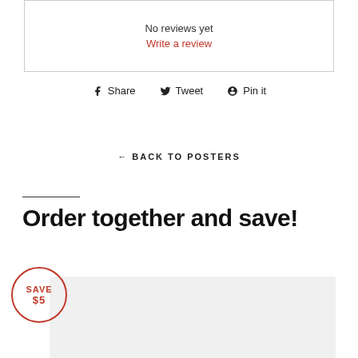No reviews yet
Write a review
Share  Tweet  Pin it
← BACK TO POSTERS
Order together and save!
SAVE $5